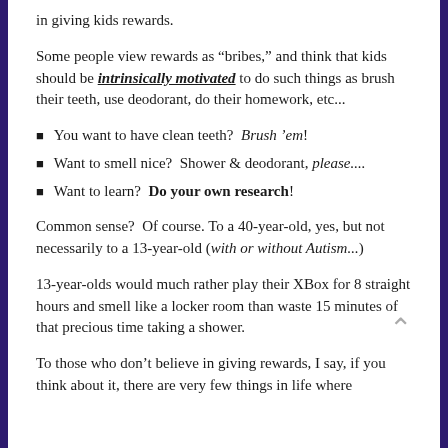in giving kids rewards.
Some people view rewards as “bribes,” and think that kids should be intrinsically motivated to do such things as brush their teeth, use deodorant, do their homework, etc...
You want to have clean teeth?  Brush ’em!
Want to smell nice?  Shower & deodorant, please....
Want to learn?  Do your own research!
Common sense?  Of course. To a 40-year-old, yes, but not necessarily to a 13-year-old (with or without Autism...)
13-year-olds would much rather play their XBox for 8 straight hours and smell like a locker room than waste 15 minutes of that precious time taking a shower.
To those who don’t believe in giving rewards, I say, if you think about it, there are very few things in life where